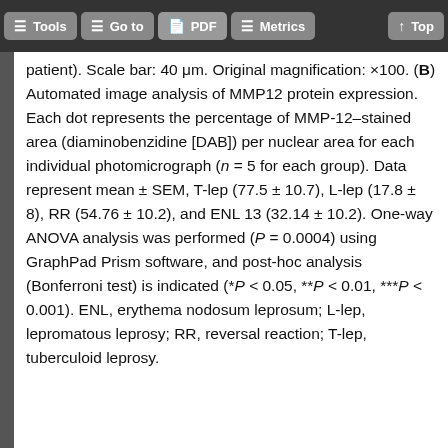Tools  Go to  PDF  Metrics  Top
patient). Scale bar: 40 μm. Original magnification: ×100. (B) Automated image analysis of MMP12 protein expression. Each dot represents the percentage of MMP-12–stained area (diaminobenzidine [DAB]) per nuclear area for each individual photomicrograph (n = 5 for each group). Data represent mean ± SEM, T-lep (77.5 ± 10.7), L-lep (17.8 ± 8), RR (54.76 ± 10.2), and ENL 13 (32.14 ± 10.2). One-way ANOVA analysis was performed (P = 0.0004) using GraphPad Prism software, and post-hoc analysis (Bonferroni test) is indicated (*P < 0.05, **P < 0.01, ***P < 0.001). ENL, erythema nodosum leprosum; L-lep, lepromatous leprosy; RR, reversal reaction; T-lep, tuberculoid leprosy.